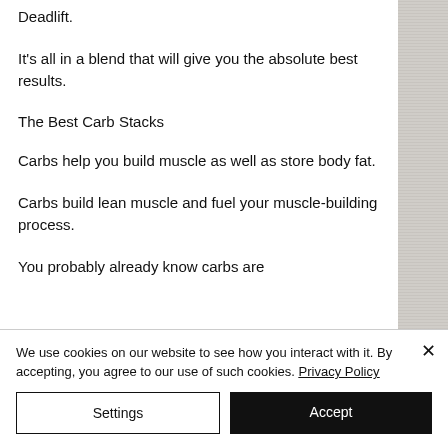Deadlift.
It's all in a blend that will give you the absolute best results.
The Best Carb Stacks
Carbs help you build muscle as well as store body fat.
Carbs build lean muscle and fuel your muscle-building process.
You probably already know carbs are
We use cookies on our website to see how you interact with it. By accepting, you agree to our use of such cookies. Privacy Policy
Settings
Accept